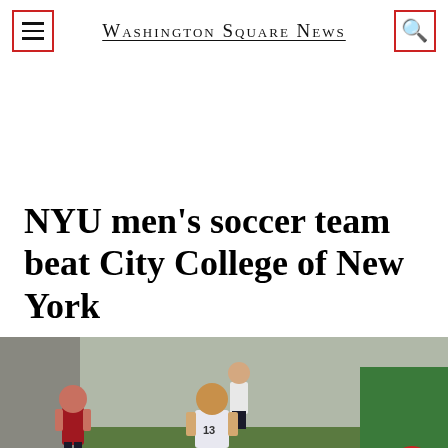Washington Square News
NYU men's soccer team beat City College of New York
[Figure (photo): Soccer players on a field; a player in white NYU jersey number 13 running, with a player in red jersey nearby, and others in background on a green field.]